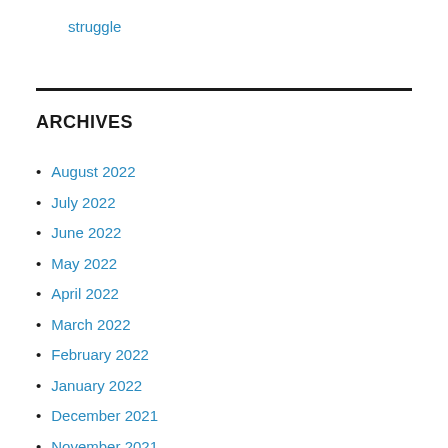struggle
ARCHIVES
August 2022
July 2022
June 2022
May 2022
April 2022
March 2022
February 2022
January 2022
December 2021
November 2021